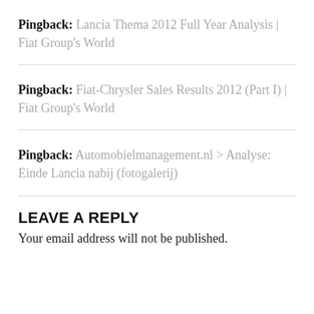Pingback: Lancia Thema 2012 Full Year Analysis | Fiat Group's World
Pingback: Fiat-Chrysler Sales Results 2012 (Part I) | Fiat Group's World
Pingback: Automobielmanagement.nl > Analyse: Einde Lancia nabij (fotogalerij)
LEAVE A REPLY
Your email address will not be published.